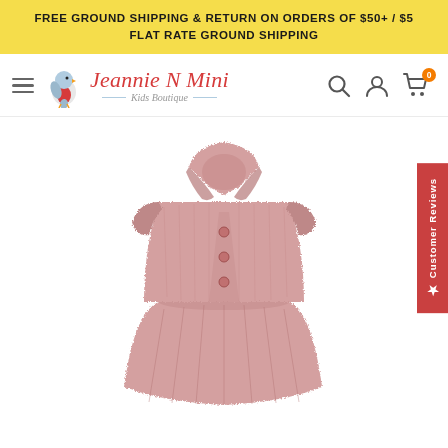FREE GROUND SHIPPING & RETURN ON ORDERS OF $50+ / $5 FLAT RATE GROUND SHIPPING
[Figure (logo): Jeannie N Mini Kids Boutique logo with cartoon bird]
[Figure (photo): Pink faux fur gilet/vest coat for children, showing collar and button front detail]